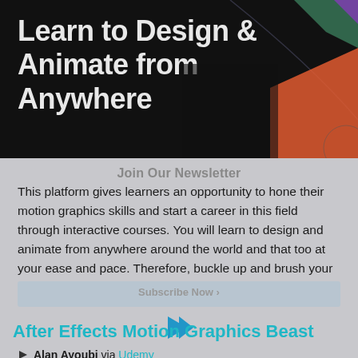Learn to Design & Animate from Anywhere
This platform gives learners an opportunity to hone their motion graphics skills and start a career in this field through interactive courses. You will learn to design and animate from anywhere around the world and that too at your ease and pace. Therefore, buckle up and brush your design and animations skills by learning new techniques.
After Effects Motion Graphics Beast
Alan Ayoubi via Udemy